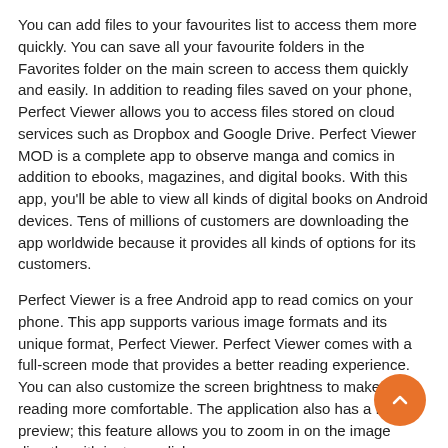You can add files to your favourites list to access them more quickly. You can save all your favourite folders in the Favorites folder on the main screen to access them quickly and easily. In addition to reading files saved on your phone, Perfect Viewer allows you to access files stored on cloud services such as Dropbox and Google Drive. Perfect Viewer MOD is a complete app to observe manga and comics in addition to ebooks, magazines, and digital books. With this app, you'll be able to view all kinds of digital books on Android devices. Tens of millions of customers are downloading the app worldwide because it provides all kinds of options for its customers.
Perfect Viewer is a free Android app to read comics on your phone. This app supports various image formats and its unique format, Perfect Viewer. Perfect Viewer comes with a full-screen mode that provides a better reading experience. You can also customize the screen brightness to make reading more comfortable. The application also has a fast preview; this feature allows you to zoom in on the image directly, with just one click.